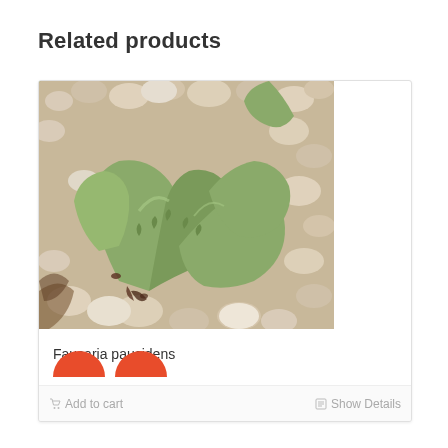Related products
[Figure (photo): Close-up photo of Faucaria paucidens succulent plant with thick green toothed leaves surrounded by gravel/pebbles]
Faucaria paucidens
Add to cart
Show Details